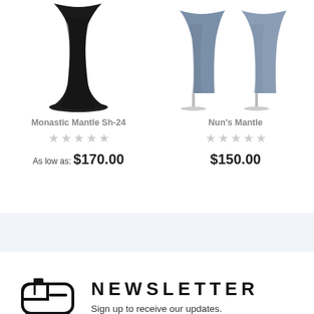[Figure (photo): Monastic Mantle Sh-24 product photo showing a long black garment]
Monastic Mantle Sh-24
★★★★★ (empty stars rating)
As low as: $170.00
[Figure (photo): Nun's Mantle product photo showing two blue-grey garments on stands]
Nun's Mantle
★★★★★ (empty stars rating)
$150.00
NEWSLETTER
Sign up to receive our updates.